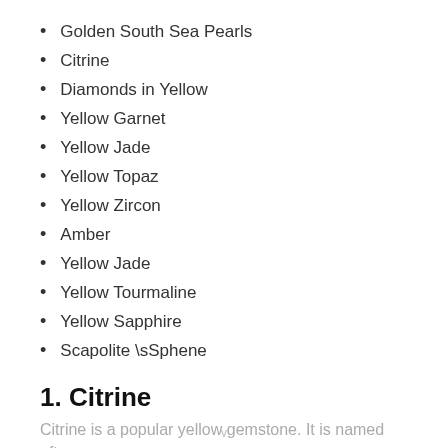Golden South Sea Pearls
Citrine
Diamonds in Yellow
Yellow Garnet
Yellow Jade
Yellow Topaz
Yellow Zircon
Amber
Yellow Jade
Yellow Tourmaline
Yellow Sapphire
Scapolite \sSphene
1. Citrine
Citrine is a popular yellow gemstone. It is named after